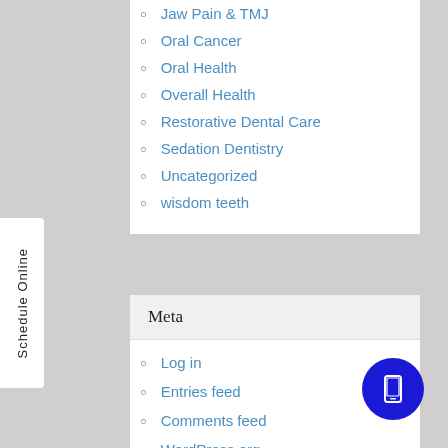Jaw Pain & TMJ
Oral Cancer
Oral Health
Overall Health
Restorative Dental Care
Sedation Dentistry
Uncategorized
wisdom teeth
Meta
Log in
Entries feed
Comments feed
WordPress.org
Schedule Online
[Figure (illustration): Blue circle button with white mobile phone icon]